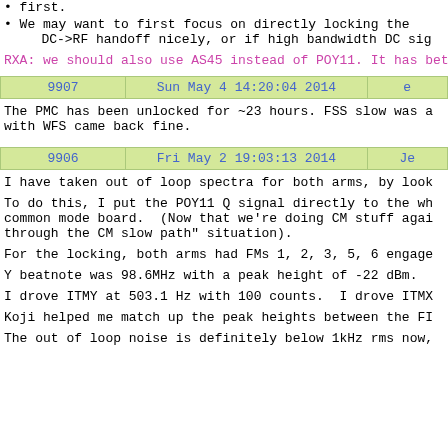first.
We may want to first focus on directly locking the DC->RF handoff nicely, or if high bandwidth DC sig
RXA: we should also use AS45 instead of POY11. It has better SNR
| 9907 | Sun May 4 14:20:04 2014 | e |
| --- | --- | --- |
The PMC has been unlocked for ~23 hours. FSS slow was a with WFS came back fine.
| 9906 | Fri May 2 19:03:13 2014 | Je |
| --- | --- | --- |
I have taken out of loop spectra for both arms, by look
To do this, I put the POY11 Q signal directly to the wh common mode board.  (Now that we're doing CM stuff agai through the CM slow path" situation).
For the locking, both arms had FMs 1, 2, 3, 5, 6 engage
Y beatnote was 98.6MHz with a peak height of -22 dBm.
I drove ITMY at 503.1 Hz with 100 counts.  I drove ITMX
Koji helped me match up the peak heights between the FI
The out of loop noise is definitely below 1kHz rms now,